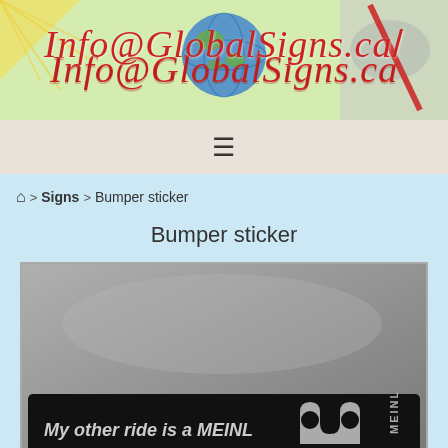[Figure (screenshot): Website header banner for GlobalSigns.ca showing logo text 'Info@GlobalSigns.ca' in red cursive script over a colorful globe/world map background]
☰
⌂ › Signs › Bumper sticker
Bumper sticker
[Figure (photo): Photo of a black bumper sticker reading 'My other ride is a MEINL' with the Meinl logo on a gray background]